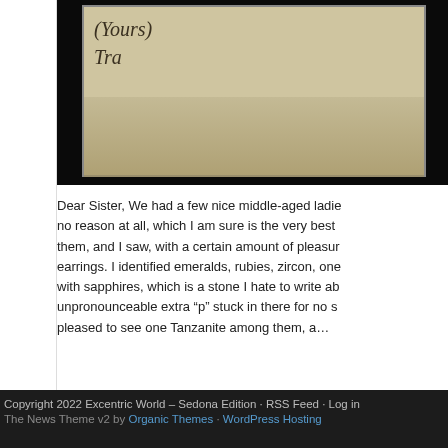[Figure (photo): Partial view of a framed handwritten letter or card with cursive text reading '(Yours)' and 'Tra...' on aged paper with dark frame border, partially cropped at top of page.]
Dear Sister, We had a few nice middle-aged ladie... no reason at all, which I am sure is the very best... them, and I saw, with a certain amount of pleasur... earrings. I identified emeralds, rubies, zircon, one... with sapphires, which is a stone I hate to write ab... unpronounceable extra "p" stuck in there for no s... pleased to see one Tanzanite among them, a…
Category Sedona Only · Tags cell phones, jewelry, technology
Copyright 2022 Excentric World – Sedona Edition · RSS Feed · Log in | The News Theme v2 by Organic Themes · WordPress Hosting